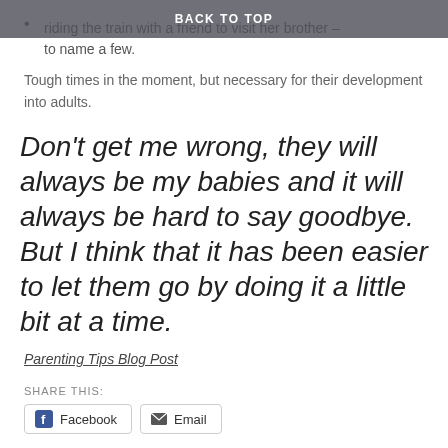BACK TO TOP
riding the train with a friend to visit her brother – to name a few.
Tough times in the moment, but necessary for their development into adults.
Don't get me wrong, they will always be my babies and it will always be hard to say goodbye. But I think that it has been easier to let them go by doing it a little bit at a time.
Parenting Tips Blog Post
SHARE THIS:
Facebook   Email